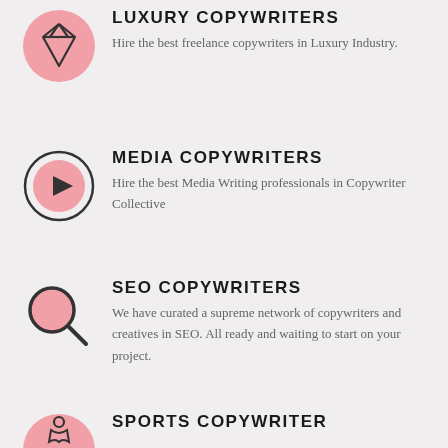[Figure (illustration): Pink circle with diamond icon (luxury symbol)]
LUXURY COPYWRITERS
Hire the best freelance copywriters in Luxury Industry.
[Figure (illustration): Pink circle with play button icon (media symbol)]
MEDIA COPYWRITERS
Hire the best Media Writing professionals in Copywriter Collective
[Figure (illustration): Pink magnifying glass icon (SEO symbol)]
SEO COPYWRITERS
We have curated a supreme network of copywriters and creatives in SEO. All ready and waiting to start on your project.
[Figure (illustration): Pink circle with sports/person icon]
SPORTS COPYWRITER